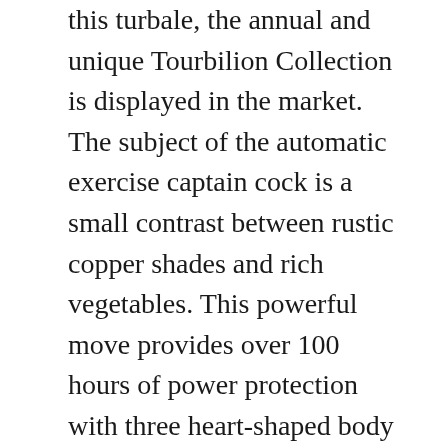this turbale, the annual and unique Tourbilion Collection is displayed in the market. The subject of the automatic exercise captain cock is a small contrast between rustic copper shades and rich vegetables. This powerful move provides over 100 hours of power protection with three heart-shaped body rotations. From June 7, 2013, the best bright and design group was transferred to how to find replica watches for sale New York and mens replica watch celebrated swiss replica watches the first bright rolex daytona replica store. At the same time, Hubhot has launched two unique Bollat watches. Keramiki rolex knockoff won Venice watch tape and hit the SRITETTO watch. Wear working hours. replica swiss watches All brands and models When Use The Best Rolo...